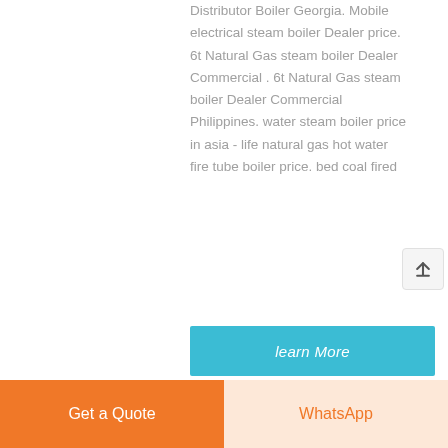Distributor Boiler Georgia. Mobile electrical steam boiler Dealer price. 6t Natural Gas steam boiler Dealer Commercial . 6t Natural Gas steam boiler Dealer Commercial Philippines. water steam boiler price in asia - life natural gas hot water fire tube boiler price. bed coal fired
learn More
Get a Quote
WhatsApp